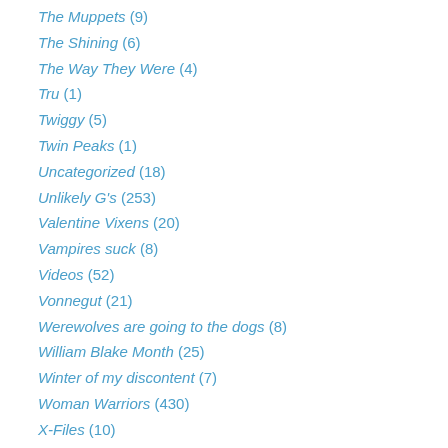The Muppets (9)
The Shining (6)
The Way They Were (4)
Tru (1)
Twiggy (5)
Twin Peaks (1)
Uncategorized (18)
Unlikely G's (253)
Valentine Vixens (20)
Vampires suck (8)
Videos (52)
Vonnegut (21)
Werewolves are going to the dogs (8)
William Blake Month (25)
Winter of my discontent (7)
Woman Warriors (430)
X-Files (10)
Year of the Rabbit (3)
Yesterday's News (7)
You Can Go Home Again (18)